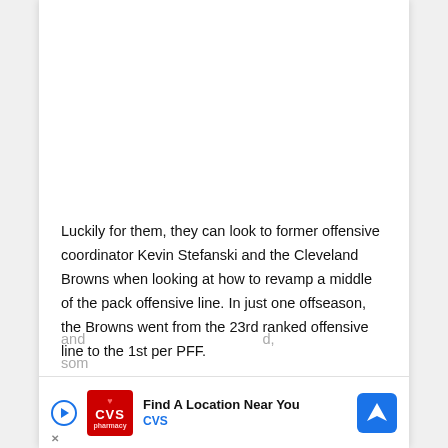Luckily for them, they can look to former offensive coordinator Kevin Stefanski and the Cleveland Browns when looking at how to revamp a middle of the pack offensive line. In just one offseason, the Browns went from the 23rd ranked offensive line to the 1st per PFF.
Stefanski invested heavily in the tackle spots through free agency, the draft, and trades to build depth at the position, allowing his running backs to run the show and...
[Figure (other): CVS Pharmacy advertisement banner: 'Find A Location Near You' with CVS logo and navigation arrow icon]